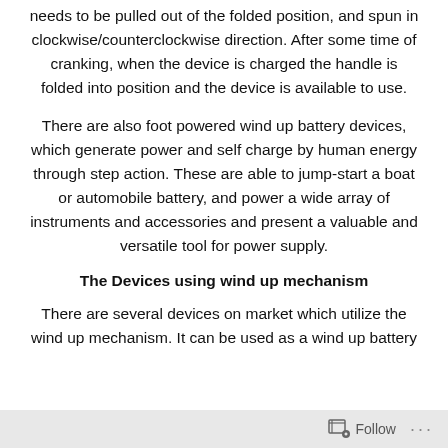needs to be pulled out of the folded position, and spun in clockwise/counterclockwise direction. After some time of cranking, when the device is charged the handle is folded into position and the device is available to use.
There are also foot powered wind up battery devices, which generate power and self charge by human energy through step action. These are able to jump-start a boat or automobile battery, and power a wide array of instruments and accessories and present a valuable and versatile tool for power supply.
The Devices using wind up mechanism
There are several devices on market which utilize the wind up mechanism. It can be used as a wind up battery
Follow ···